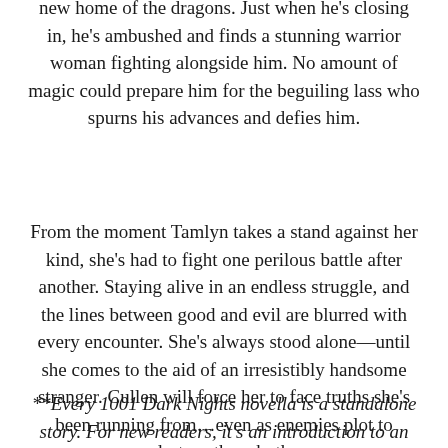new home of the dragons. Just when he's closing in, he's ambushed and finds a stunning warrior woman fighting alongside him. No amount of magic could prepare him for the beguiling lass who spurns his advances and defies him.
From the moment Tamlyn takes a stand against her kind, she's had to fight one perilous battle after another. Staying alive in an endless struggle, and the lines between good and evil are blurred with every encounter. She's always stood alone—until she comes to the aid of an irresistibly handsome stranger. Cullen will force her to face truths she's been running from…even as enemies plot to destroy them both.
**Every 1001 Dark Nights novella is a standalone story. For new readers, it's an introduction to an author's world